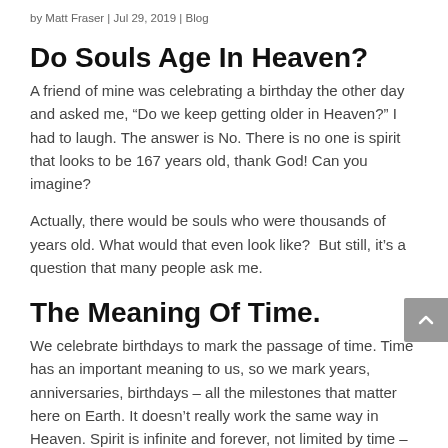by Matt Fraser | Jul 29, 2019 | Blog
Do Souls Age In Heaven?
A friend of mine was celebrating a birthday the other day and asked me, “Do we keep getting older in Heaven?” I had to laugh. The answer is No. There is no one is spirit that looks to be 167 years old, thank God! Can you imagine?
Actually, there would be souls who were thousands of years old. What would that even look like?  But still, it’s a question that many people ask me.
The Meaning Of Time.
We celebrate birthdays to mark the passage of time. Time has an important meaning to us, so we mark years, anniversaries, birthdays – all the milestones that matter here on Earth. It doesn’t really work the same way in Heaven. Spirit is infinite and forever, not limited by time – so a year is like a drop of water in an infinite sea. So with that in mind, it makes sense that